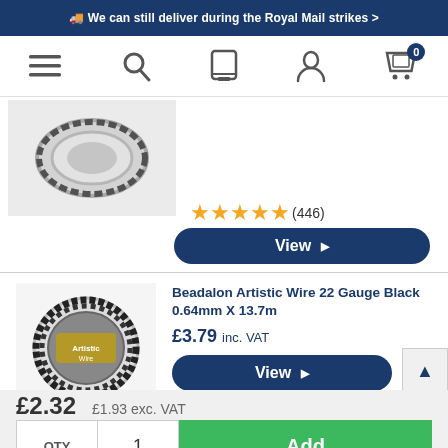We can still deliver during the Royal Mail strikes >
[Figure (screenshot): Navigation bar with hamburger menu, search, mobile, account, and cart icons]
[Figure (photo): Product image of wire coil, partially visible]
★★★★★ (446)
View ▶
[Figure (photo): Beadalon Artistic Wire 22 Gauge Black spool product image]
Beadalon Artistic Wire 22 Gauge Black 0.64mm X 13.7m
£3.79 inc. VAT
View ▶
£2.32
£1.93 exc. VAT
QTY
1
Add